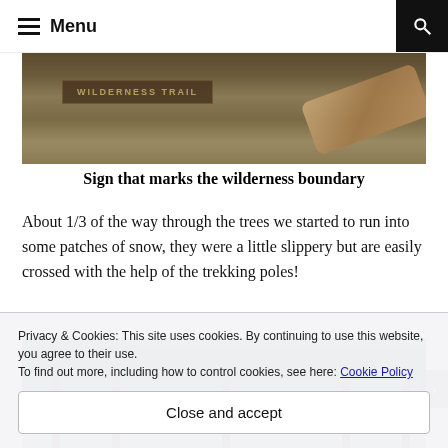Menu
[Figure (photo): Wooden trail sign that marks the wilderness boundary, surrounded by dirt, vegetation and a log]
Sign that marks the wilderness boundary
About 1/3 of the way through the trees we started to run into some patches of snow, they were a little slippery but are easily crossed with the help of the trekking poles!
[Figure (photo): Forest path with trees and blue sky visible through the canopy]
Privacy & Cookies: This site uses cookies. By continuing to use this website, you agree to their use.
To find out more, including how to control cookies, see here: Cookie Policy
Close and accept